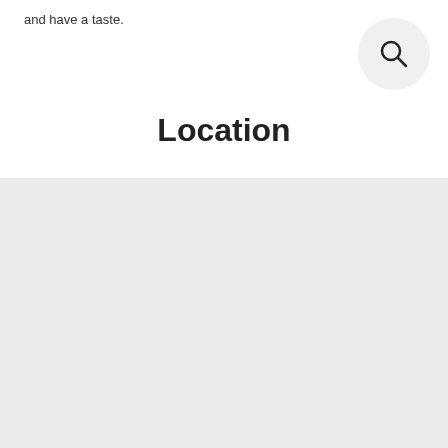and have a taste.
[Figure (illustration): Search icon (magnifying glass) inside a light gray circle, positioned in the top-right corner]
Location
[Figure (other): Large light gray rectangular area representing a map or content placeholder]